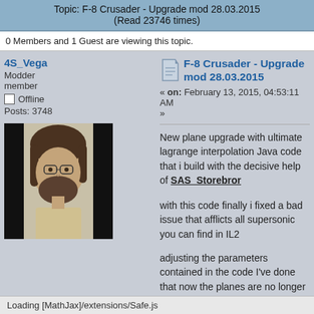Topic: F-8 Crusader - Upgrade mod 28.03.2015
(Read 23746 times)
0 Members and 1 Guest are viewing this topic.
4S_Vega
Modder member
Offline
Posts: 3748
[Figure (photo): Avatar photo of forum user 4S_Vega, showing a bearded man with brown hair and glasses, flanked by black bars on left and right.]
F-8 Crusader - Upgrade mod 28.03.2015
« on: February 13, 2015, 04:53:11 AM
»
New plane upgrade with ultimate lagrange interpolation Java code that i build with the decisive help of SAS_Storebror
with this code finally i fixed a bad issue that afflicts all supersonic you can find in IL2
adjusting the parameters contained in the code I've done that now the planes are no longer able to pull an unrealistic amount of G once
Loading [MathJax]/extensions/Safe.js